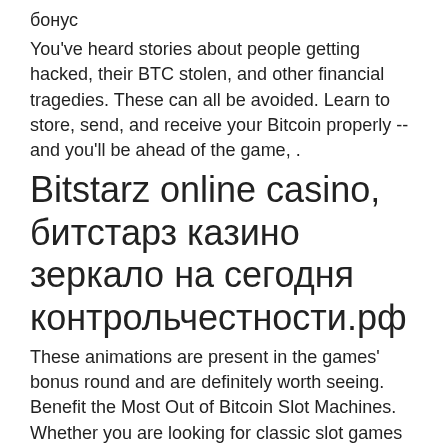бонус
You've heard stories about people getting hacked, their BTC stolen, and other financial tragedies. These can all be avoided. Learn to store, send, and receive your Bitcoin properly -- and you'll be ahead of the game, .
Bitstarz online casino, битстарз казино зеркало на сегодня контрольчестности.рф
These animations are present in the games' bonus round and are definitely worth seeing. Benefit the Most Out of Bitcoin Slot Machines. Whether you are looking for classic slot games or extremely modern ones, the range you can choose from is quite huge, bitstarz bezdep. Before you play though, there are some things you need to check out. Established in 2014, mBit BTC